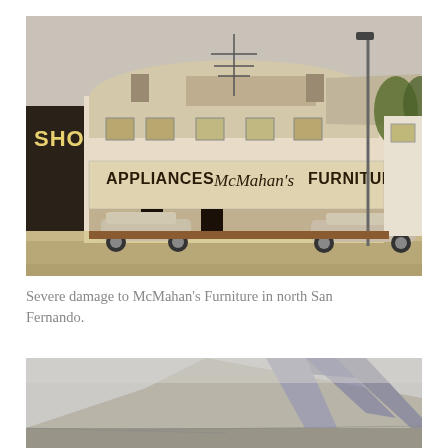[Figure (photo): Sepia-toned photograph of McMahan's Furniture store in north San Fernando showing severe earthquake damage. The building facade reads 'APPLIANCES McMahan's FURNITURE'. The roof has partially collapsed. Cars are parked in front. A palm tree and street light are visible on the right.]
Severe damage to McMahan's Furniture in north San Fernando.
[Figure (photo): Partially visible photograph showing collapsed roof structure with metal beams and debris against a pale sky, indicating severe structural damage.]